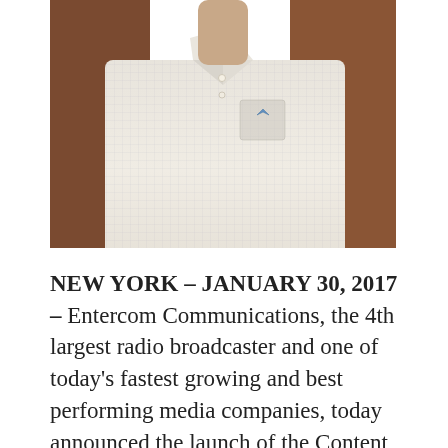[Figure (photo): Photo of a person wearing a light-colored plaid/checked button-down shirt, cropped to show torso and lower face/neck area.]
NEW YORK – JANUARY 30, 2017 – Entercom Communications, the 4th largest radio broadcaster and one of today's fastest growing and best performing media companies, today announced the launch of the Content Innovation Group as part of the company's commitment to delivering the best curated music, news, talk and sports